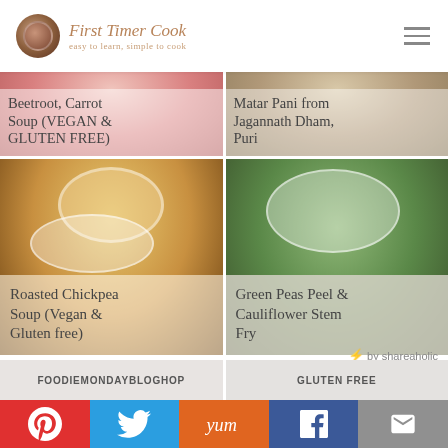First Timer Cook — logo and navigation
[Figure (photo): Food blog article card: Beetroot, Carrot Soup (VEGAN & GLUTEN FREE) — pink soup in bowl]
[Figure (photo): Food blog article card: Matar Pani from Jagannath Dham, Puri — spiced drink in cup]
[Figure (photo): Food blog article card: Roasted Chickpea Soup (Vegan & Gluten free) — yellow creamy soup in white bowl]
[Figure (photo): Food blog article card: Green Peas Peel & Cauliflower Stem Fry — green vegetable dish in white bowl]
by shareaholic
FOODIEMONDAYBLOGHOP
GLUTEN FREE